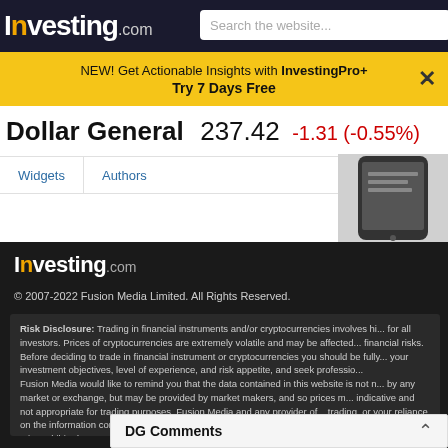Investing.com — Search the website...
NEW! Get Actionable Insights with InvestingPro+ Try 7 Days Free
Dollar General 237.42 -1.31 (-0.55%)
Widgets   Authors
[Figure (screenshot): Mobile phone device image partially visible]
[Figure (logo): Investing.com footer logo with orange dot on i]
© 2007-2022 Fusion Media Limited. All Rights Reserved.
Risk Disclosure: Trading in financial instruments and/or cryptocurrencies involves hi... for all investors. Prices of cryptocurrencies are extremely volatile and may be affected... financial risks. Before deciding to trade in financial instrument or cryptocurrencies you should be fully... your investment objectives, level of experience, and risk appetite, and seek professio... Fusion Media would like to remind you that the data contained in this website is not n... by any market or exchange, but may be provided by market makers, and so prices m... indicative and not appropriate for trading purposes. Fusion Media and any provider of... trading, or your reliance on the information contained within this website. It is prohibited to use, store, reproduce, display, modify, transmit or distribute the data... data provider. All intellectual property rights are reserved by the providers and/or the a... Fusion Media may be compensated by the advertisers that appear on the website, ba...
DG Comments